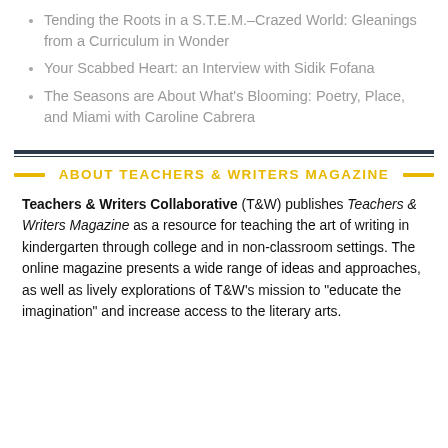Tending the Roots in a S.T.E.M.–Crazed World: Gleanings from a Curriculum in Wonder
Your Scabbed Heart: an Interview with Sidik Fofana
The Seasons are About What's Blooming: Poetry, Place, and Miami with Caroline Cabrera
ABOUT TEACHERS & WRITERS MAGAZINE
Teachers & Writers Collaborative (T&W) publishes Teachers & Writers Magazine as a resource for teaching the art of writing in kindergarten through college and in non-classroom settings. The online magazine presents a wide range of ideas and approaches, as well as lively explorations of T&W's mission to "educate the imagination" and increase access to the literary arts.